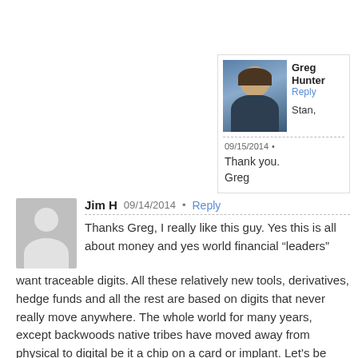[Figure (photo): Profile photo of Greg Hunter, a man in a suit]
Greg Hunter
Reply
Stan,
09/15/2014
Thank you.
Greg
Jim H
09/14/2014 • Reply
Thanks Greg, I really like this guy. Yes this is all about money and yes world financial “leaders” want traceable digits. All these relatively new tools, derivatives, hedge funds and all the rest are based on digits that never really move anywhere. The whole world for many years, except backwoods native tribes have moved away from physical to digital be it a chip on a card or implant. Let’s be real, most of us are sitting on one and use them regularly.
On your last question, again his answer in my thinking was